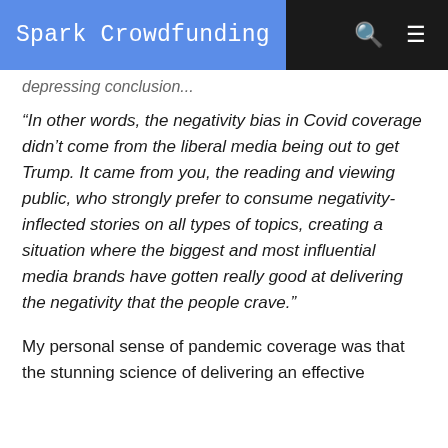Spark Crowdfunding
depressing conclusion...
“In other words, the negativity bias in Covid coverage didn’t come from the liberal media being out to get Trump. It came from you, the reading and viewing public, who strongly prefer to consume negativity-inflected stories on all types of topics, creating a situation where the biggest and most influential media brands have gotten really good at delivering the negativity that the people crave.”
My personal sense of pandemic coverage was that the stunning science of delivering an effective